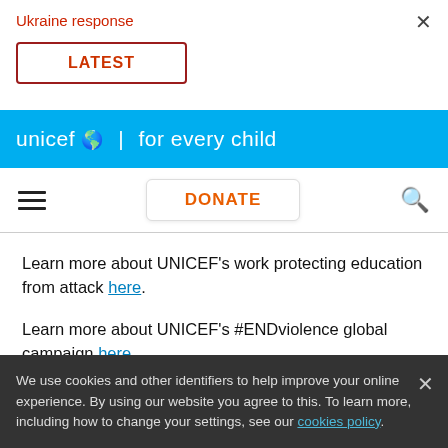Ukraine response
LATEST
[Figure (logo): UNICEF 'for every child' logo on blue banner]
Learn more about UNICEF's work protecting education from attack here.
Learn more about UNICEF's #ENDviolence global campaign here.
We use cookies and other identifiers to help improve your online experience. By using our website you agree to this. To learn more, including how to change your settings, see our cookies policy.